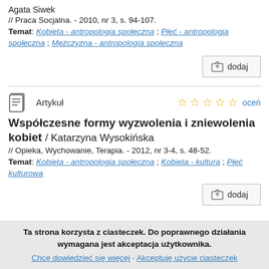Agata Siwek
// Praca Socjalna. - 2010, nr 3, s. 94-107.
Temat: Kobieta - antropologia społeczna ; Płeć - antropologia społeczna ; Mężczyzna - antropologia społeczna
dodaj
Artykuł
Współczesne formy wyzwolenia i zniewolenia kobiet / Katarzyna Wysokińska
// Opieka, Wychowanie, Terapia. - 2012, nr 3-4, s. 48-52.
Temat: Kobieta - antropologia społeczna ; Kobieta - kultura ; Płeć kulturowa
dodaj
Ta strona korzysta z ciasteczek. Do poprawnego działania wymagana jest akceptacja użytkownika. Chcę dowiedzieć się więcej · Akceptuję użycie ciasteczek